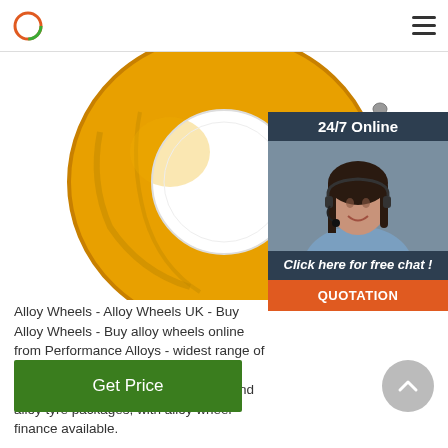Logo and navigation hamburger menu
[Figure (photo): Large yellow alloy wheel / ring-shaped metal component photographed on white background]
[Figure (photo): 24/7 Online chat widget with woman wearing headset and 'Click here for free chat!' call-to-action button and QUOTATION button]
Alloy Wheels - Alloy Wheels UK - Buy Alloy Wheels - Buy alloy wheels online from Performance Alloys - widest range of alloy wheels and tyres available and models. Browse cheap alloy wheels and alloy tyre packages, with alloy wheel finance available.
Get Price